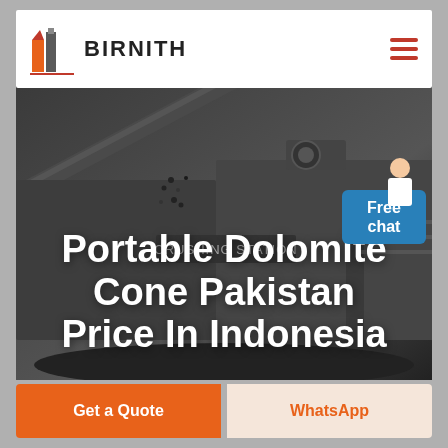[Figure (logo): Birnith company logo with orange building icon and brand name BIRNITH]
[Figure (photo): Heavy industrial crushing station machinery with conveyor belts and aggregate material in dark/gray industrial setting]
Portable Dolomite Cone Pakistan Price In Indonesia
Free chat
Get a Quote
WhatsApp